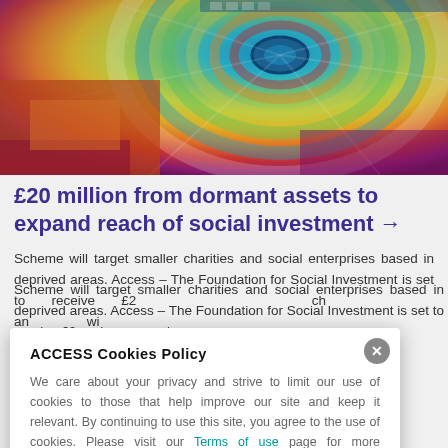[Figure (photo): Colorful spiral staircase viewed from above, with rainbow colors ranging from blue at center to red/orange at edges]
£20 million from dormant assets to expand reach of social investment →
Scheme will target smaller charities and social enterprises based in deprived areas. Access – The Foundation for Social Investment is set to receive £2... ch... an... wi...
ACCESS Cookies Policy

We care about your privacy and strive to limit our use of cookies to those that help improve our site and keep it relevant. By continuing to use this site, you agree to the use of cookies. Please visit our Terms of use page for more information about cookies and how we use them.